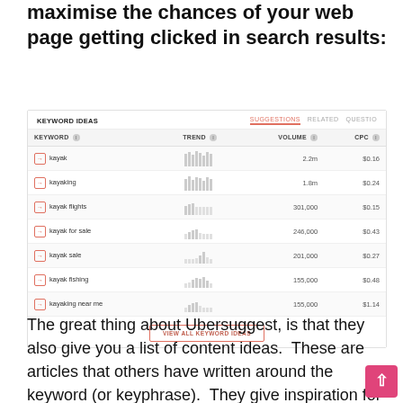maximise the chances of your web page getting clicked in search results:
[Figure (screenshot): Screenshot of Ubersuggest Keyword Ideas tool showing a table with columns: Keyword, Trend, Volume, CPC. Rows: kayak (2.2m, $0.16), kayaking (1.8m, $0.24), kayak flights (301,000, $0.15), kayak for sale (246,000, $0.43), kayak sale (201,000, $0.27), kayak fishing (155,000, $0.48), kayaking near me (155,000, $1.14). Tabs: SUGGESTIONS (active), RELATED, QUESTIONS. Button: VIEW ALL KEYWORD IDEAS.]
The great thing about Ubersuggest, is that they also give you a list of content ideas.  These are articles that others have written around the keyword (or keyphrase).  They give inspiration for articles that